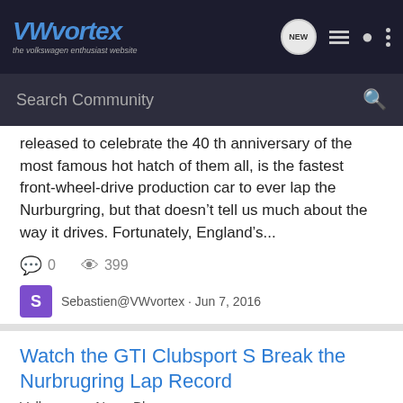VWvortex – the volkswagen enthusiast website
released to celebrate the 40 th anniversary of the most famous hot hatch of them all, is the fastest front-wheel-drive production car to ever lap the Nurburgring, but that doesn't tell us much about the way it drives. Fortunately, England's...
0  399
Sebastien@VWvortex · Jun 7, 2016
clubsport  front wheel drive  golf  gti  homeslider  lap record  nurburgring  s  volkswagen  vw
Watch the GTI Clubsport S Break the Nurbrugring Lap Record
Volkswagen News Blog